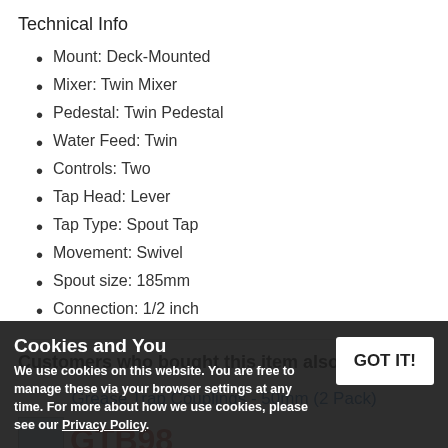Technical Info
Mount: Deck-Mounted
Mixer: Twin Mixer
Pedestal: Twin Pedestal
Water Feed: Twin
Controls: Two
Tap Head: Lever
Tap Type: Spout Tap
Movement: Swivel
Spout size: 185mm
Connection: 1/2 inch
Customers who bought this item also bought:
Grease Trap Couplings - 50mm (2 Pack)
Cookies and You
We use cookies on this website. You are free to manage these via your browser settings at any time. For more about how we use cookies, please see our Privacy Policy.